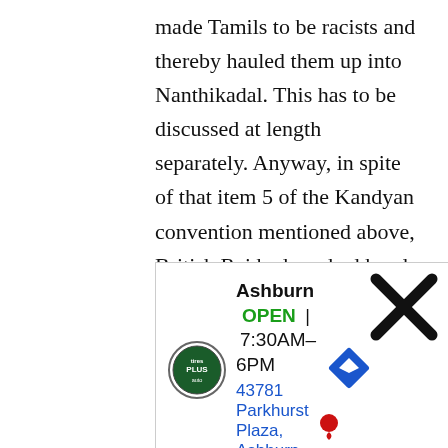made Tamils to be racists and thereby hauled them up into Nanthikadal. This has to be discussed at length separately. Anyway, in spite of that item 5 of the Kandyan convention mentioned above, British Raj had worked hand in glove with all types of evangelists to destroy Buddhism. I remember people talked about a powerful group called ‘catholic action’ long after independence. Throughout 550 years of western colonialists rule, Christi
[Figure (other): Advertisement overlay: Tires Plus auto shop, Ashburn location. Shows logo, OPEN status, hours 7:30AM-6PM, address 43781 Parkhurst Plaza Ashburn, navigation icon, close button (X), scroll up button.]